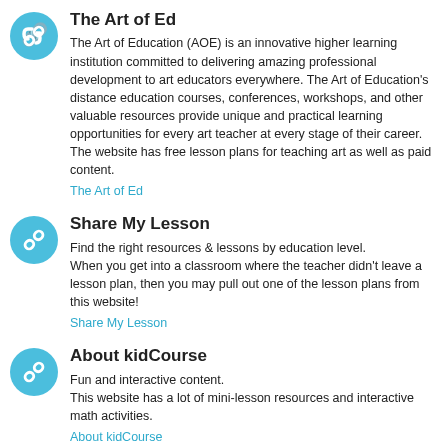The Art of Ed
The Art of Education (AOE) is an innovative higher learning institution committed to delivering amazing professional development to art educators everywhere. The Art of Education’s distance education courses, conferences, workshops, and other valuable resources provide unique and practical learning opportunities for every art teacher at every stage of their career. The website has free lesson plans for teaching art as well as paid content.
The Art of Ed
Share My Lesson
Find the right resources & lessons by education level.
When you get into a classroom where the teacher didn’t leave a lesson plan, then you may pull out one of the lesson plans from this website!
Share My Lesson
About kidCourse
Fun and interactive content.
This website has a lot of mini-lesson resources and interactive math activities.
About kidCourse